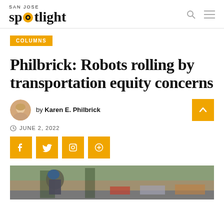SAN JOSE spotlight
COLUMNS
Philbrick: Robots rolling by transportation equity concerns
by Karen E. Philbrick
JUNE 2, 2022
[Figure (photo): Street scene with a person in a blue cap and cars in the background]